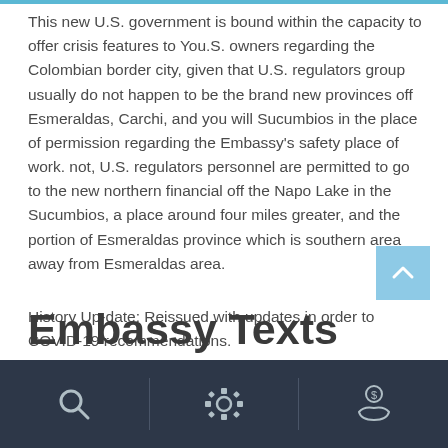This new U.S. government is bound within the capacity to offer crisis features to You.S. owners regarding the Colombian border city, given that U.S. regulators group usually do not happen to be the brand new provinces off Esmeraldas, Carchi, and you will Sucumbios in the place of permission regarding the Embassy's safety place of work. not, U.S. regulators personnel are permitted to go to the new northern financial off the Napo Lake in the Sucumbios, a place around four miles greater, and the portion of Esmeraldas province which is southern area away from Esmeraldas area.
History Up-date: Reissued with updates in order to COVID-19 recommendations.
Embassy Texts
Navigation bar with search, settings, and payment icons